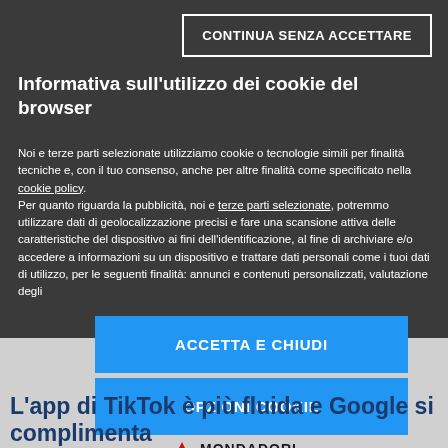CONTINUA SENZA ACCETTARE
Informativa sull'utilizzo dei cookie del browser
Noi e terze parti selezionate utilizziamo cookie o tecnologie simili per finalità tecniche e, con il tuo consenso, anche per altre finalità come specificato nella cookie policy. Per quanto riguarda la pubblicità, noi e terze parti selezionate, potremmo utilizzare dati di geolocalizzazione precisi e fare una scansione attiva delle caratteristiche del dispositivo ai fini dell'identificazione, al fine di archiviare e/o accedere a informazioni su un dispositivo e trattare dati personali come i tuoi dati di utilizzo, per le seguenti finalità: annunci e contenuti personalizzati, valutazione degli
ACCETTA E CHIUDI
OPZIONI COOKIE
[Figure (logo): Mondadori Media logo with red mountain/arrow icon and bold text]
L'app di TikTok è più fluida e Google si complimenta